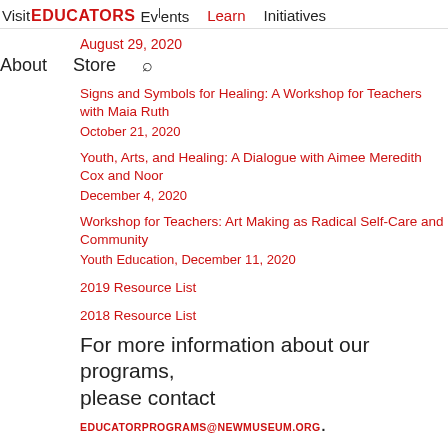Visit EDUCATORS Events Learn Initiatives
August 29, 2020
About Store
Signs and Symbols for Healing: A Workshop for Teachers with Maia Ruth
October 21, 2020
Youth, Arts, and Healing: A Dialogue with Aimee Meredith Cox and Noor
December 4, 2020
Workshop for Teachers: Art Making as Radical Self-Care and Community
Youth Education, December 11, 2020
2019 Resource List
2018 Resource List
For more information about our programs, please contact EDUCATORPROGRAMS@NEWMUSEUM.ORG.